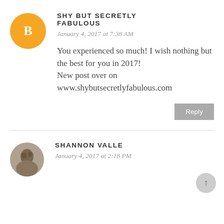[Figure (logo): Orange circular Blogger logo with white B icon]
SHY BUT SECRETLY FABULOUS
January 4, 2017 at 7:38 AM
You experienced so much! I wish nothing but the best for you in 2017!
New post over on www.shybutsecretlyfabulous.com
Reply
[Figure (photo): Small circular profile photo of Shannon Valle]
SHANNON VALLE
January 4, 2017 at 2:18 PM